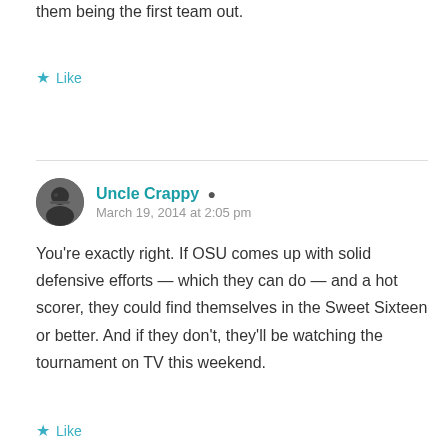them being the first team out.
★ Like
Uncle Crappy
March 19, 2014 at 2:05 pm
You're exactly right. If OSU comes up with solid defensive efforts — which they can do — and a hot scorer, they could find themselves in the Sweet Sixteen or better. And if they don't, they'll be watching the tournament on TV this weekend.
★ Like